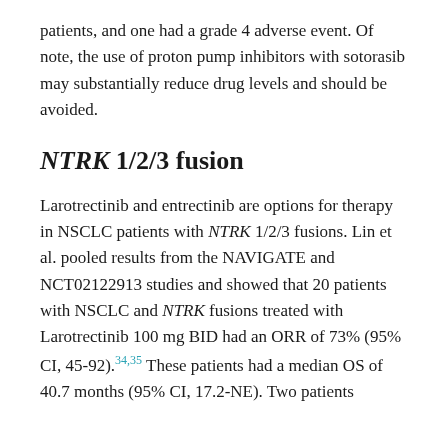patients, and one had a grade 4 adverse event. Of note, the use of proton pump inhibitors with sotorasib may substantially reduce drug levels and should be avoided.
NTRK 1/2/3 fusion
Larotrectinib and entrectinib are options for therapy in NSCLC patients with NTRK 1/2/3 fusions. Lin et al. pooled results from the NAVIGATE and NCT02122913 studies and showed that 20 patients with NSCLC and NTRK fusions treated with Larotrectinib 100 mg BID had an ORR of 73% (95% CI, 45-92).34,35 These patients had a median OS of 40.7 months (95% CI, 17.2-NE). Two patients